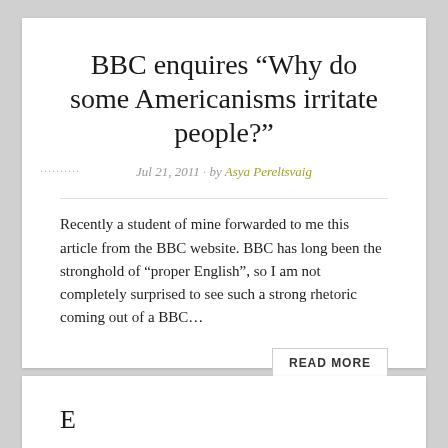BBC enquires “Why do some Americanisms irritate people?”
Jul 21, 2011 by Asya Pereltsvaig
Recently a student of mine forwarded to me this article from the BBC website. BBC has long been the stronghold of “proper English”, so I am not completely surprised to see such a strong rhetoric coming out of a BBC...
READ MORE